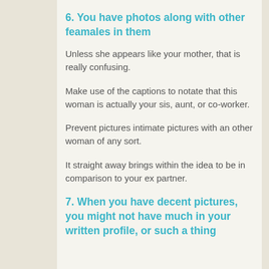6. You have photos along with other feamales in them
Unless she appears like your mother, that is really confusing.
Make use of the captions to notate that this woman is actually your sis, aunt, or co-worker.
Prevent pictures intimate pictures with an other woman of any sort.
It straight away brings within the idea to be in comparison to your ex partner.
7. When you have decent pictures, you might not have much in your written profile, or such a thing